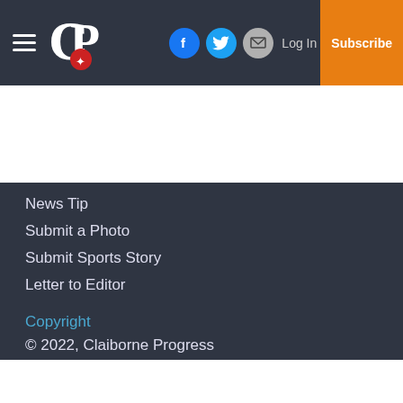Claiborne Progress — Navigation bar with hamburger menu, logo (CP), Facebook, Twitter, Email social icons, Log In, and Subscribe button
News Tip
Submit a Photo
Submit Sports Story
Letter to Editor
Copyright
© 2022, Claiborne Progress